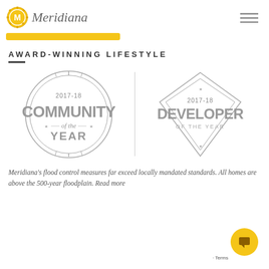[Figure (logo): Meridiana logo with gold circular badge with M and italic serif wordmark]
[Figure (other): Hamburger menu icon (three horizontal lines) in top right corner]
[Figure (other): Yellow/gold decorative horizontal bar below logo]
AWARD-WINNING LIFESTYLE
[Figure (illustration): Two award badge illustrations side by side separated by vertical line. Left: circular badge reading '2017-18 COMMUNITY of the YEAR'. Right: diamond-shaped badge reading '2017-18 DEVELOPER OF THE YEAR'.]
Meridiana's flood control measures far exceed locally mandated standards. All homes are above the 500-year floodplain. Read more